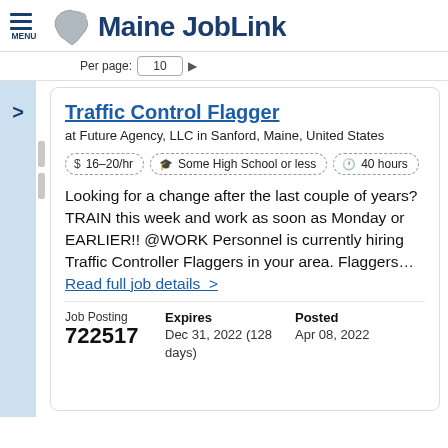Maine JobLink
Per page: 10
Traffic Control Flagger
at Future Agency, LLC in Sanford, Maine, United States
$ 16–20/hr   Some High School or less   40 hours
Looking for a change after the last couple of years? TRAIN this week and work as soon as Monday or EARLIER!! @WORK Personnel is currently hiring Traffic Controller Flaggers in your area. Flaggers… Read full job details  >
| Job Posting | Expires | Posted |
| --- | --- | --- |
| 722517 | Dec 31, 2022 (128 days) | Apr 08, 2022 |